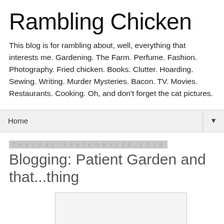Rambling Chicken
This blog is for rambling about, well, everything that interests me. Gardening. The Farm. Perfume. Fashion. Photography. Fried chicken. Books. Clutter. Hoarding. Sewing. Writing. Murder Mysteries. Bacon. TV. Movies. Restaurants. Cooking. Oh, and don't forget the cat pictures.
Home ▼
Tuesday, September 20, 2016
Blogging: Patient Garden and that...thing
[Figure (photo): Empty light-colored rectangular image placeholder box]